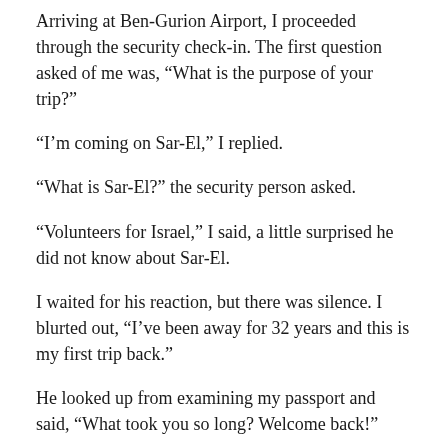Arriving at Ben-Gurion Airport, I proceeded through the security check-in. The first question asked of me was, “What is the purpose of your trip?”
“I’m coming on Sar-El,” I replied.
“What is Sar-El?” the security person asked.
“Volunteers for Israel,” I said, a little surprised he did not know about Sar-El.
I waited for his reaction, but there was silence. I blurted out, “I’ve been away for 32 years and this is my first trip back.”
He looked up from examining my passport and said, “What took you so long? Welcome back!”